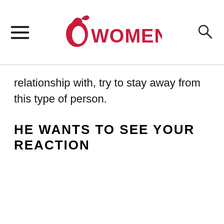WOMENIO
relationship with, try to stay away from this type of person.
HE WANTS TO SEE YOUR REACTION